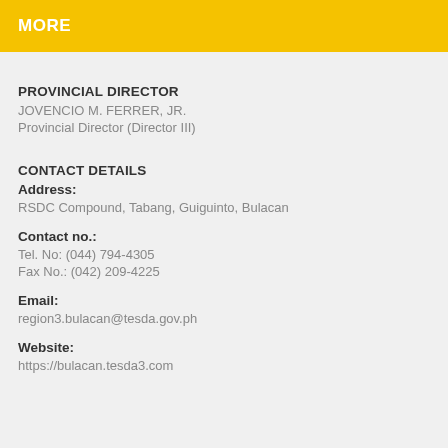MORE
PROVINCIAL DIRECTOR
JOVENCIO M. FERRER, JR.
Provincial Director (Director III)
CONTACT DETAILS
Address:
RSDC Compound, Tabang, Guiguinto, Bulacan
Contact no.:
Tel. No: (044) 794-4305
Fax No.: (042) 209-4225
Email:
region3.bulacan@tesda.gov.ph
Website:
https://bulacan.tesda3.com